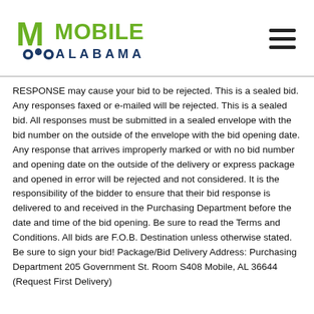[Figure (logo): City of Mobile, Alabama logo with green M and blue Alabama text, plus hamburger menu icon]
RESPONSE may cause your bid to be rejected. This is a sealed bid. Any responses faxed or e-mailed will be rejected. This is a sealed bid. All responses must be submitted in a sealed envelope with the bid number on the outside of the envelope with the bid opening date. Any response that arrives improperly marked or with no bid number and opening date on the outside of the delivery or express package and opened in error will be rejected and not considered. It is the responsibility of the bidder to ensure that their bid response is delivered to and received in the Purchasing Department before the date and time of the bid opening. Be sure to read the Terms and Conditions. All bids are F.O.B. Destination unless otherwise stated. Be sure to sign your bid! Package/Bid Delivery Address: Purchasing Department 205 Government St. Room S408 Mobile, AL 36644 (Request First Delivery)